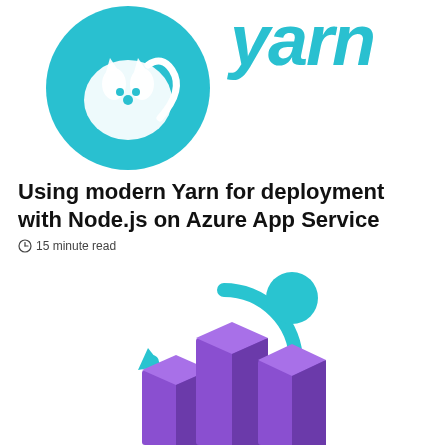[Figure (logo): Yarn package manager logo — teal circle with cat illustration and 'yarn' text in teal script]
Using modern Yarn for deployment with Node.js on Azure App Service
15 minute read
[Figure (logo): Azure App Service logo — purple 3D bar chart columns with a teal circular arrow and circle above]